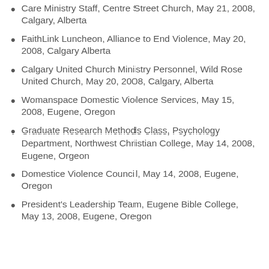Care Ministry Staff, Centre Street Church, May 21, 2008, Calgary, Alberta
FaithLink Luncheon, Alliance to End Violence, May 20, 2008, Calgary Alberta
Calgary United Church Ministry Personnel, Wild Rose United Church, May 20, 2008, Calgary, Alberta
Womanspace Domestic Violence Services, May 15, 2008, Eugene, Oregon
Graduate Research Methods Class, Psychology Department, Northwest Christian College, May 14, 2008, Eugene, Orgeon
Domestice Violence Council, May 14, 2008, Eugene, Oregon
President's Leadership Team, Eugene Bible College, May 13, 2008, Eugene, Oregon